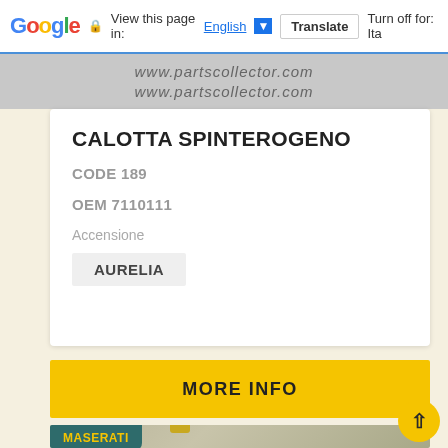Google  View this page in: English [▼]  Translate  Turn off for: It...
[Figure (screenshot): Watermark banner showing www.partscollector.com repeated in italic text on grey background]
CALOTTA SPINTEROGENO
CODE 189
OEM 7110111
Accensione
AURELIA
MORE INFO
[Figure (photo): Maserati branded product image showing a gold/brass coloured mechanical distributor cap part on a newspaper background. MASERATI label shown in teal/green with yellow text.]